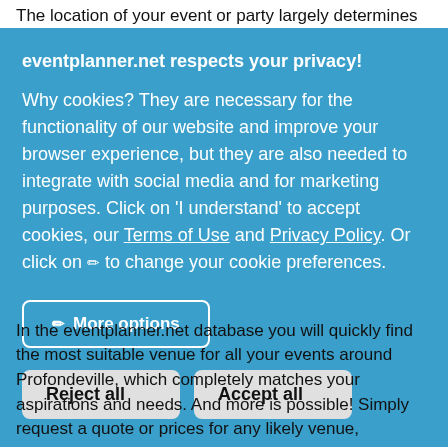The location of your event or party largely determines the look and feel of your event, and thus the experience you want to create for
eventplanner.net respects your privacy! Why cookies? They are necessary for the functionality of our website and improve your browser experience, but they are also needed to integrate with social media and for marketing purposes. Click on 'I understand' to accept cookies, our Terms of Use and Privacy Policy. Or click on ✏ to change your cookie preferences.
More options
Reject all
Accept all
In the eventplanner.net database you will quickly find the most suitable venue for all your events around Profondeville, which completely matches your aspirations and needs. And more is possible! Simply request a quote or prices for any likely venue,